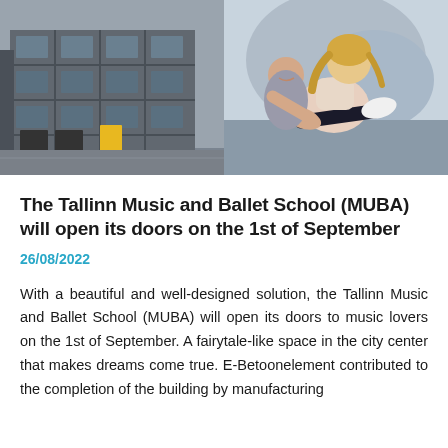[Figure (photo): Two side-by-side photos: left shows a modern grey building facade with rectangular windows and yellow accent doors; right shows a woman helping a young girl stretch in a ballet/gymnastics pose outdoors.]
The Tallinn Music and Ballet School (MUBA) will open its doors on the 1st of September
26/08/2022
With a beautiful and well-designed solution, the Tallinn Music and Ballet School (MUBA) will open its doors to music lovers on the 1st of September. A fairytale-like space in the city center that makes dreams come true. E-Betoonelement contributed to the completion of the building by manufacturing